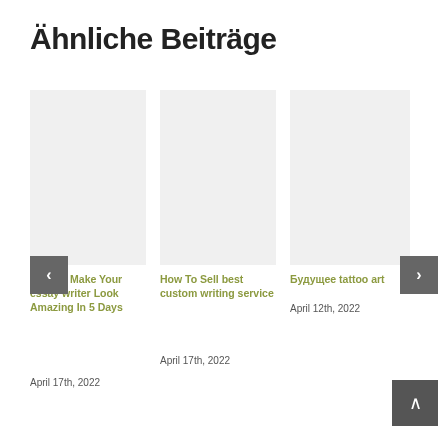Ähnliche Beiträge
[Figure (photo): Placeholder image (light gray) for blog post 1]
How To Make Your essay writer Look Amazing In 5 Days
April 17th, 2022
[Figure (photo): Placeholder image (light gray) for blog post 2]
How To Sell best custom writing service
April 17th, 2022
[Figure (photo): Placeholder image (light gray) for blog post 3]
Будущее tattoo art
April 12th, 2022